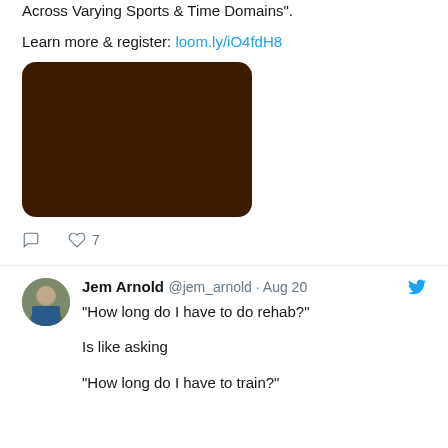Across Varying Sports & Time Domains".
Learn more & register: loom.ly/iO4fdH8
[Figure (photo): Dark brown/black image thumbnail, rounded corners]
♡ 7 (like count with comment icon)
Jem Arnold @jem_arnold · Aug 20
"How long do I have to do rehab?"

Is like asking

"How long do I have to train?"